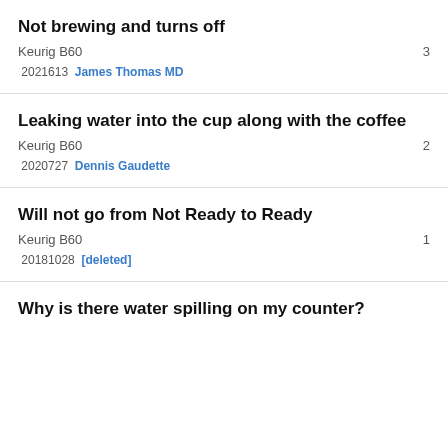Not brewing and turns off
Keurig B60   3    
   2021 6 13    James Thomas MD
Leaking water into the cup along with the coffee
Keurig B60   2    
       2020 7 27    Dennis Gaudette
Will not go from Not Ready to Ready
Keurig B60   1    
   2018 10 28    [deleted]
Why is there water spilling on my counter?